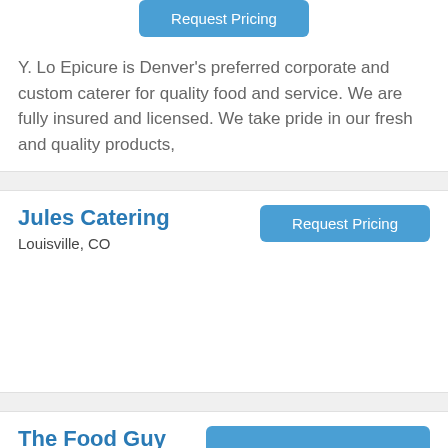[Figure (other): Request Pricing button (partially visible at top)]
Y. Lo Epicure is Denver's preferred corporate and custom caterer for quality food and service. We are fully insured and licensed. We take pride in our fresh and quality products,
Jules Catering
Louisville, CO
[Figure (other): Request Pricing button]
The Food Guy Catering
Denver, CO
[Figure (other): Request Pricing button (partially visible at bottom)]